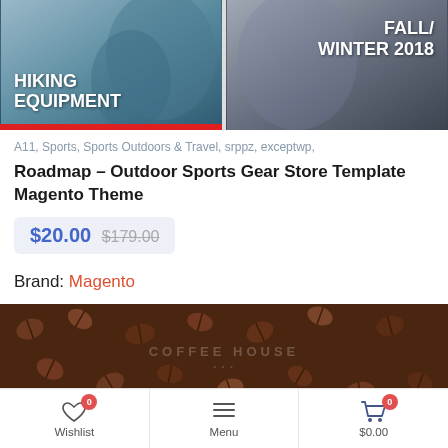[Figure (screenshot): Two promotional banner images side by side: left shows hiking equipment promo with text 'HIKING EQUIPMENT' on mountain/backpacker background; right shows 'FALL/WINTER 2018' on grey mountain background]
A11, Sports, Sports Outdoors & Travel, srppz, exceptwp,
Roadmap - Outdoor Sports Gear Store Template Magento Theme
$20.00 $179.00
Brand: Magento
[Figure (screenshot): Coffee House website screenshot showing coffee beans background with 'COFFEE HOUSE' text overlay and navigation bar]
Wishlist 0  Menu  $0.00 0